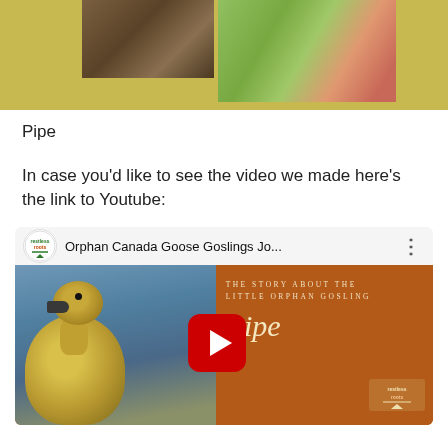[Figure (photo): Partial top view of two photos — left showing a brown/tan close-up of what appears to be an animal on a dark background, right showing a green and reddish close-up of an animal, both against a golden/olive background]
Pipe
In case you'd like to see the video we made here's the link to Youtube:
[Figure (screenshot): YouTube video thumbnail for 'Orphan Canada Goose Goslings Jo...' by Restless Roots channel. Shows a baby gosling being held, with orange background on right side reading 'THE STORY ABOUT THE LITTLE ORPHAN GOSLING Pipe' with Restless Roots logo. Red YouTube play button in center.]